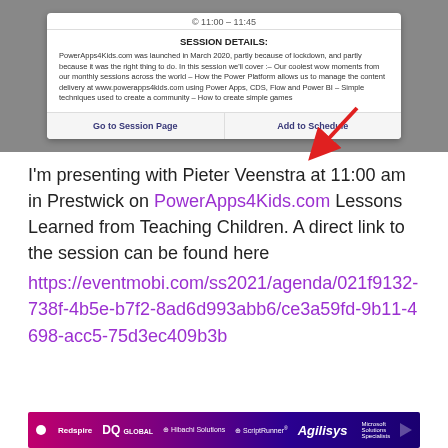[Figure (screenshot): Screenshot of a session card UI showing SESSION DETAILS about PowerApps4Kids.com, with Go to Session Page and Add to Schedule buttons. A red arrow points to the Add to Schedule button.]
I'm presenting with Pieter Veenstra at 11:00 am in Prestwick on PowerApps4Kids.com Lessons Learned from Teaching Children. A direct link to the session can be found here https://eventmobi.com/ss2021/agenda/021f9132-738f-4b5e-b7f2-8ad6d993abb6/ce3a59fd-9b11-4698-acc5-75d3ec409b3b
[Figure (infographic): Sponsor banner showing logos: Redspire, DQ GLOBAL, Hibachi Solutions, ScriptRunner, Agilisys]